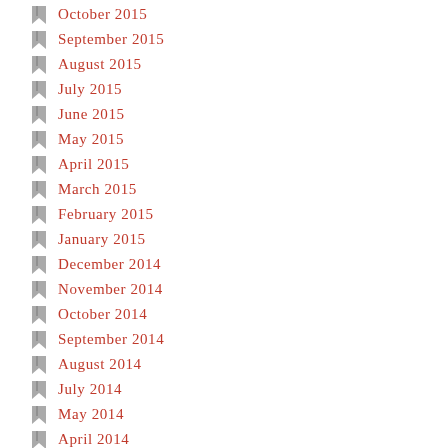October 2015
September 2015
August 2015
July 2015
June 2015
May 2015
April 2015
March 2015
February 2015
January 2015
December 2014
November 2014
October 2014
September 2014
August 2014
July 2014
May 2014
April 2014